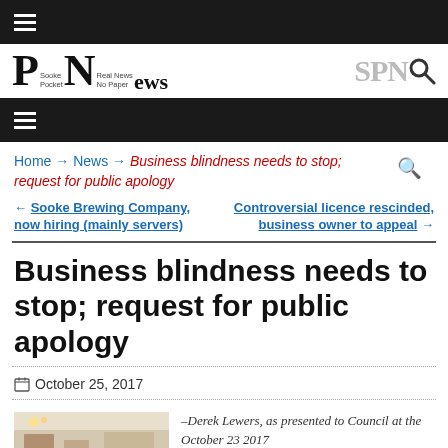Sooke Pocket News — Real News, No Paper
Home → News → Business blindness needs to stop; request for public apology
← Sooke Brewing Company, now hiring (mainly servers)    Controversial licence rescinded, business owner to appeal →
Business blindness needs to stop; request for public apology
October 25, 2017
[Figure (photo): Interior room photo, appears to be a council chamber or meeting room]
–Derek Lewers, as presented to Council at the October 23 2017